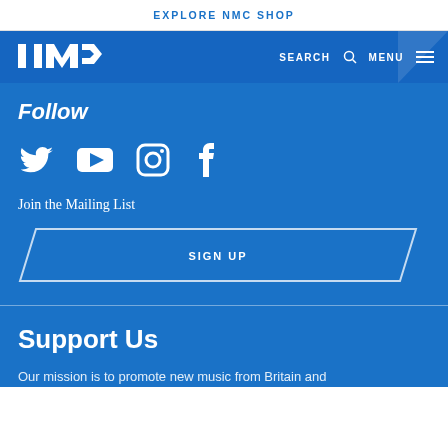EXPLORE NMC SHOP
[Figure (logo): NMC logo in white on blue navigation bar]
Follow
[Figure (infographic): Social media icons: Twitter, YouTube, Instagram, Facebook]
Join the Mailing List
SIGN UP
Support Us
Our mission is to promote new music from Britain and